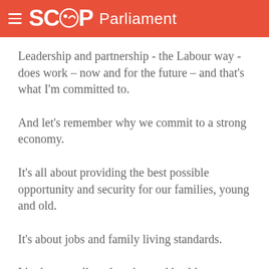SCOOP Parliament
Leadership and partnership - the Labour way - does work – now and for the future – and that's what I'm committed to.
And let's remember why we commit to a strong economy.
It's all about providing the best possible opportunity and security for our families, young and old.
It's about jobs and family living standards.
It's about quality education and health care